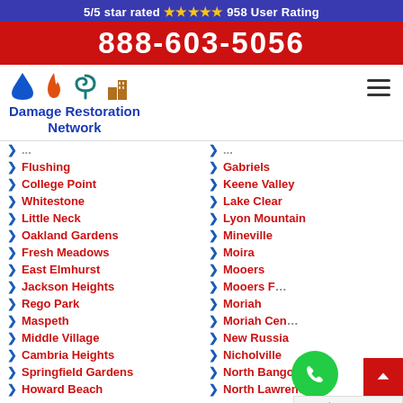5/5 star rated ⭐⭐⭐⭐⭐ 958 User Rating
888-603-5056
[Figure (logo): Damage Restoration Network logo with water drop, fire, storm, and building icons]
Flushing
College Point
Whitestone
Little Neck
Oakland Gardens
Fresh Meadows
East Elmhurst
Jackson Heights
Rego Park
Maspeth
Middle Village
Cambria Heights
Springfield Gardens
Howard Beach
Gabriels
Keene Valley
Lake Clear
Lyon Mountain
Mineville
Moira
Mooers
Mooers Forks
Moriah
Moriah Center
New Russia
Nicholville
North Bangor
North Lawrence